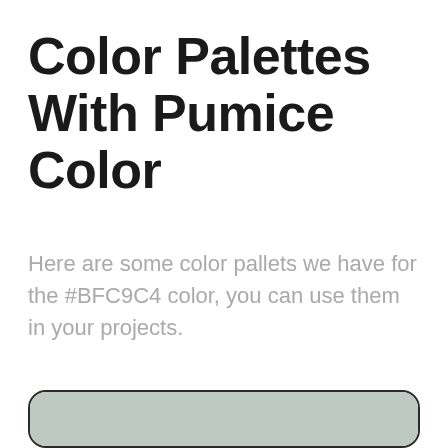Color Palettes With Pumice Color
Here are some color pallets we have for the #BFC9C4 color, you can use them in your projects.
[Figure (illustration): Color palette card showing two horizontal color swatches: the top larger swatch is pumice gray (#BFC9C4) and the bottom smaller swatch is a very light gray near white (#EEEEEE). The card has rounded corners and a thin dark border.]